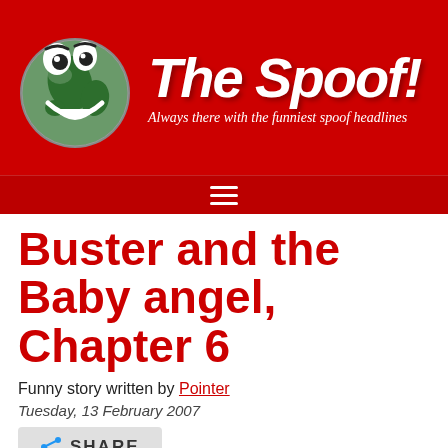[Figure (logo): The Spoof! website header with smiling globe mascot logo on red background, tagline 'Always there with the funniest spoof headlines']
Buster and the Baby angel, Chapter 6
Funny story written by Pointer
Tuesday, 13 February 2007
SHARE
Hey!  The funny story you are trying to access may